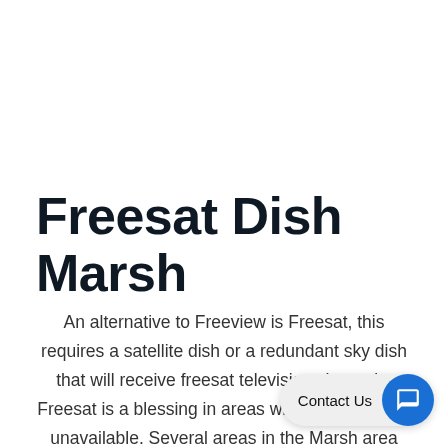Freesat Dish Marsh
An alternative to Freeview is Freesat, this requires a satellite dish or a redundant sky dish that will receive freesat television channels. Freesat is a blessing in areas where Freeview is unavailable. Several areas in the Marsh area may not receive all of the Freeview channels via their TV aerial. As a result, the option is a Freesat, through a dish. Freesat can be